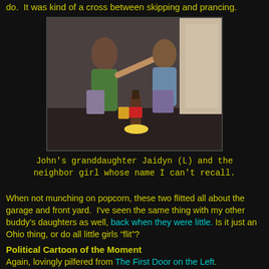do.  It was kind of a cross between skipping and prancing.
[Figure (photo): Two young girls sitting on the floor near a door; the girl on the left (Jaidyn) is touching the other girl's nose; a bottle and snack container are visible between them.]
John's granddaughter Jaidyn (L) and the neighbor girl whose name I can't recall.
When not munching on popcorn, these two flitted all about the garage and front yard.  I've seen the same thing with my other buddy's daughters as well, back when they were little. Is it just an Ohio thing, or do all little girls "flit"?
Political Cartoon of the Moment
Again, lovingly pilfered from The First Door on the Left.